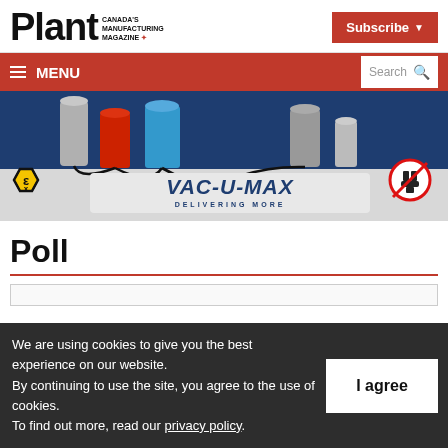Plant - Canada's Manufacturing Magazine
[Figure (logo): Plant magazine logo with 'CANADA'S MANUFACTURING MAGAZINE' tagline]
[Figure (other): Subscribe button (red) with dropdown arrow]
[Figure (other): Red navigation bar with hamburger MENU icon on left and Search box on right]
[Figure (photo): VAC-U-MAX advertisement banner showing industrial vacuum equipment, ATEX Ex symbol on left, no-plug symbol on right, 'VAC-U-MAX DELIVERING MORE' text]
Poll
We are using cookies to give you the best experience on our website. By continuing to use the site, you agree to the use of cookies. To find out more, read our privacy policy.